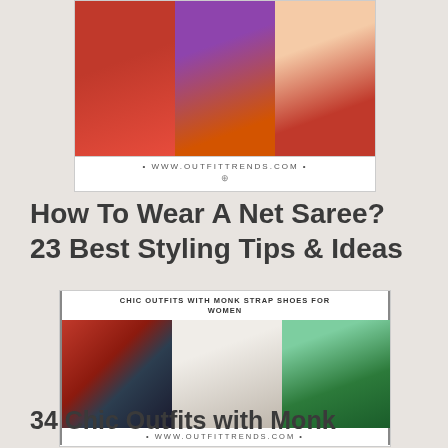[Figure (photo): Collage of three women wearing net sarees in red, purple/magenta, and floral patterns, with www.outfittrends.com watermark]
How To Wear A Net Saree? 23 Best Styling Tips & Ideas
[Figure (photo): Collage of three women wearing chic outfits with monk strap shoes, with header 'CHIC OUTFITS WITH MONK STRAP SHOES FOR WOMEN' and www.outfittrends.com watermark]
34 Chic Outfits with Monk